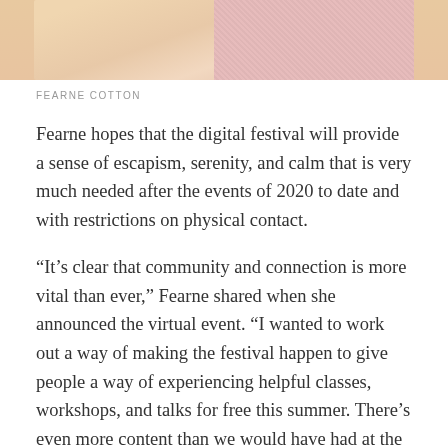[Figure (photo): Cropped photo of Fearne Cotton wearing a pink knit sweater against a peach/tan background — only the lower portion of the image is visible]
FEARNE COTTON
Fearne hopes that the digital festival will provide a sense of escapism, serenity, and calm that is very much needed after the events of 2020 to date and with restrictions on physical contact.
“It’s clear that community and connection is more vital than ever,” Fearne shared when she announced the virtual event. “I wanted to work out a way of making the festival happen to give people a way of experiencing helpful classes, workshops, and talks for free this summer. There’s even more content than we would have had at the live event and I’m excited for people to enjoy our month’s long schedule.”